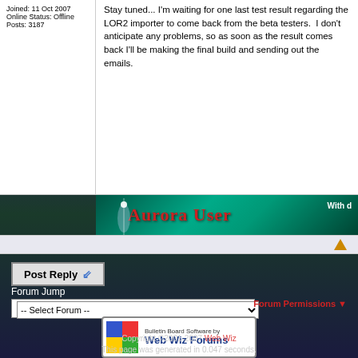Joined: 11 Oct 2007
Online Status: Offline
Posts: 3187
Stay tuned... I'm waiting for one last test result regarding the LOR2 importer to come back from the beta testers. I don't anticipate any problems, so as soon as the result comes back I'll be making the final build and sending out the emails.
[Figure (illustration): Aurora User banner with teal/green gradient background and red text reading 'Aurora User', with 'With d' partially visible on right]
Post Reply
Forum Jump
-- Select Forum --
Forum Permissions
[Figure (logo): Web Wiz Forums logo with colored squares and text 'Bulletin Board Software by Web Wiz Forums']
Copyright ©2001-2007 Web Wiz
This page was generated in 0.047 seconds.